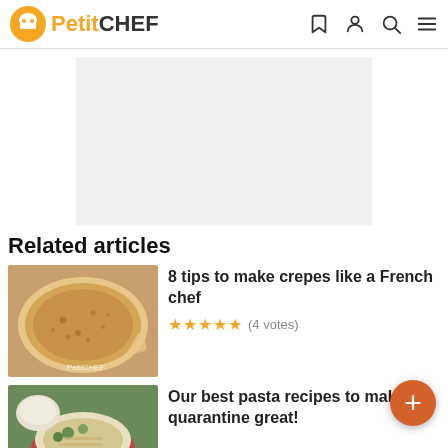PetitCHEF
[Figure (other): Advertisement placeholder area (light gray rectangle)]
Related articles
[Figure (photo): Photo of a French crepe on a plate, golden-brown with lacy edges. PetitCHEF watermark visible.]
8 tips to make crepes like a French chef
★★★★★ (4 votes)
[Figure (photo): Photo of pasta dish with vegetables in a bowl, green herbs visible.]
Our best pasta recipes to make quarantine great!